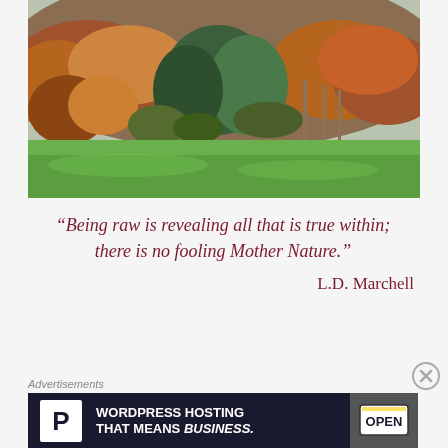[Figure (photo): Autumn forest landscape photo showing a hillside covered with trees in orange, red, and green fall foliage, with a green field in the foreground under an overcast sky.]
“Being raw is revealing all that is true within; there is no fooling Mother Nature.”
L.D. Marchell
Advertisements
[Figure (infographic): Advertisement banner: WordPress Hosting That Means Business. Dark background with white P logo on left, bold white text in center, and an OPEN sign photo on the right.]